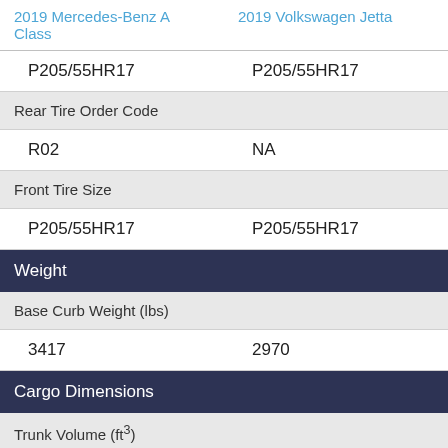| 2019 Mercedes-Benz A Class | 2019 Volkswagen Jetta |
| --- | --- |
| P205/55HR17 | P205/55HR17 |
| Rear Tire Order Code |  |
| R02 | NA |
| Front Tire Size |  |
| P205/55HR17 | P205/55HR17 |
| Weight |  |
| Base Curb Weight (lbs) |  |
| 3417 | 2970 |
| Cargo Dimensions |  |
| Trunk Volume (ft³) |  |
| 8.6 | 14.1 |
| Overall Safety |  |